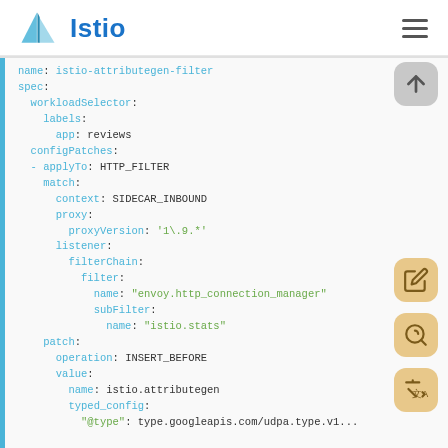Istio
name: istio-attributegen-filter
spec:
  workloadSelector:
    labels:
      app: reviews
  configPatches:
  - applyTo: HTTP_FILTER
    match:
      context: SIDECAR_INBOUND
      proxy:
        proxyVersion: '1\.9.*'
      listener:
        filterChain:
          filter:
            name: "envoy.http_connection_manager"
            subFilter:
              name: "istio.stats"
    patch:
      operation: INSERT_BEFORE
      value:
        name: istio.attributegen
        typed_config:
          "@type": type.googleapis.com/udpa.type.v1...